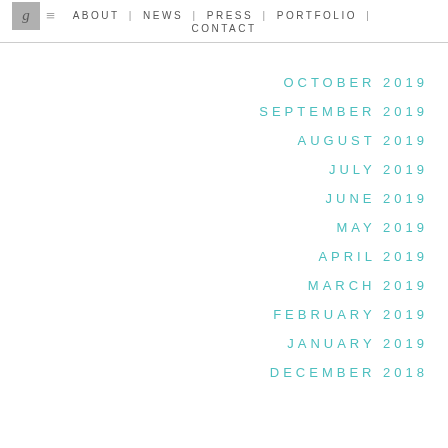ABOUT | NEWS | PRESS | PORTFOLIO | CONTACT
OCTOBER 2019
SEPTEMBER 2019
AUGUST 2019
JULY 2019
JUNE 2019
MAY 2019
APRIL 2019
MARCH 2019
FEBRUARY 2019
JANUARY 2019
DECEMBER 2018